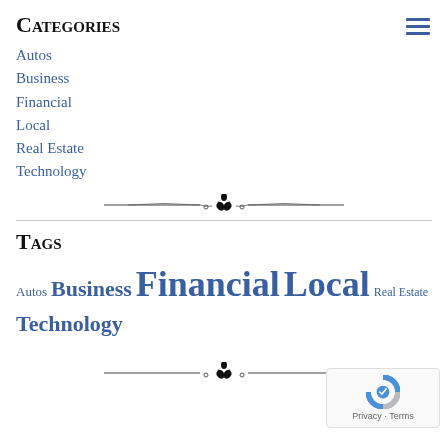Categories
Autos
Business
Financial
Local
Real Estate
Technology
Tags
Autos Business Financial Local Real Estate Technology